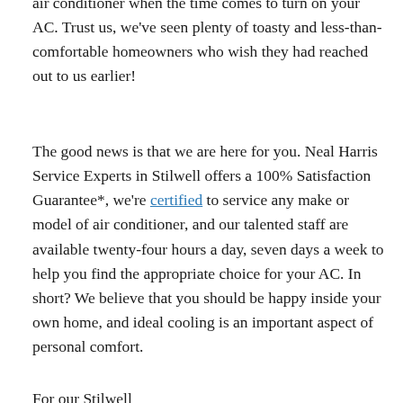air conditioner when the time comes to turn on your AC. Trust us, we've seen plenty of toasty and less-than-comfortable homeowners who wish they had reached out to us earlier!
The good news is that we are here for you. Neal Harris Service Experts in Stilwell offers a 100% Satisfaction Guarantee*, we're certified to service any make or model of air conditioner, and our talented staff are available twenty-four hours a day, seven days a week to help you find the appropriate choice for your AC. In short? We believe that you should be happy inside your own home, and ideal cooling is an important aspect of personal comfort.
For our Stilwell...